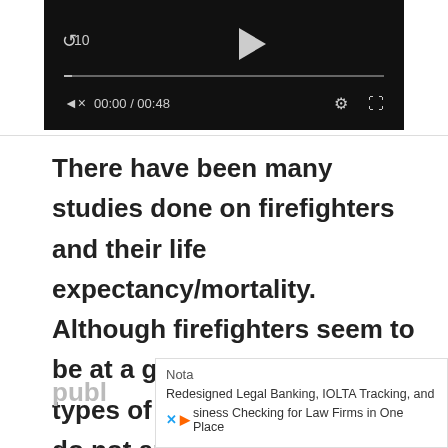[Figure (screenshot): Video player with black background showing playback controls: skip button with '10', play button, progress bar, time display '00:00 / 00:48', settings gear icon, and fullscreen icon.]
There have been many studies done on firefighters and their life expectancy/mortality. Although firefighters seem to be at a greater risk for certain types of cancer, firefighters do not appear to have a shorter life expectancy or increased rate of mort
[Figure (screenshot): Advertisement overlay showing 'Nota' heading and text: 'Redesigned Legal Banking, IOLTA Tracking, and Business Checking for Law Firms in One Place' with social media icons.]